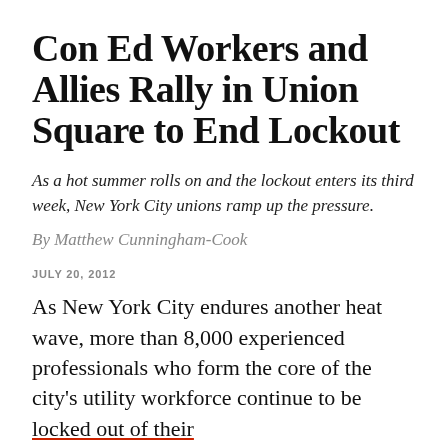Con Ed Workers and Allies Rally in Union Square to End Lockout
As a hot summer rolls on and the lockout enters its third week, New York City unions ramp up the pressure.
By Matthew Cunningham-Cook
JULY 20, 2012
As New York City endures another heat wave, more than 8,000 experienced professionals who form the core of the city's utility workforce continue to be locked out of their